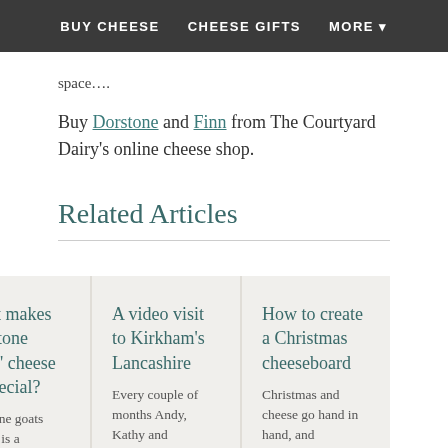BUY CHEESE   CHEESE GIFTS   MORE ▾
space....
Buy Dorstone and Finn from The Courtyard Dairy's online cheese shop.
Related Articles
What makes Dorstone goats' cheese so special?
Dorstone goats cheese is a
A video visit to Kirkham's Lancashire
Every couple of months Andy, Kathy and occasionally The
How to create a Christmas cheeseboard
Christmas and cheese go hand in hand, and